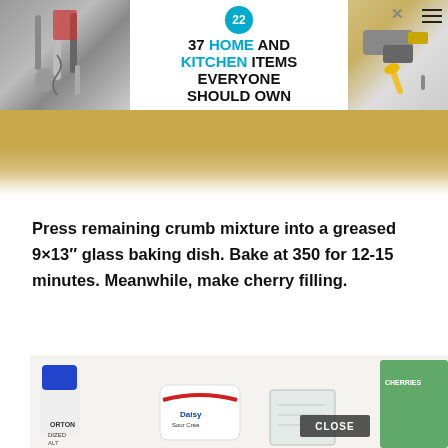[Figure (photo): Advertisement banner: 37 Home and Kitchen Items Everyone Should Own. Shows kitchen tools and a badge with '22'. White background with product images on left and right.]
Press remaining crumb mixture into a greased 9×13" glass baking dish. Bake at 350 for 12-15 minutes. Meanwhile, make cherry filling.
[Figure (photo): Photo of baking ingredients on a white surface including Morton iodized salt, sour cream container, and other items. A 'CLOSE' button overlay visible.]